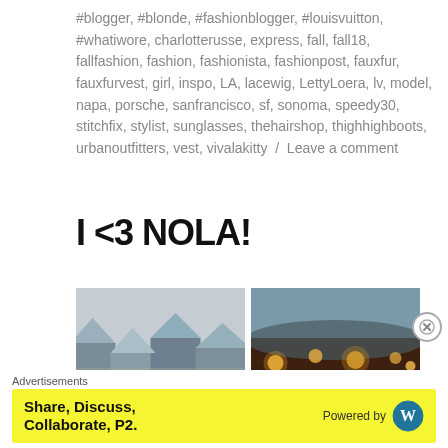#blogger, #blonde, #fashionblogger, #louisvuitton, #whatiwore, charlotterusse, express, fall, fall18, fallfashion, fashion, fashionista, fashionpost, fauxfur, fauxfurvest, girl, inspo, LA, lacewig, LettyLoera, lv, model, napa, porsche, sanfrancisco, sf, sonoma, speedy30, stitchfix, stylist, sunglasses, thehairshop, thighhighboots, urbanoutfitters, vest, vivalakitty / Leave a comment
I <3 NOLA!
[Figure (photo): Two side-by-side photos of New Orleans architecture: left shows rooftops of buildings, right shows a warmly lit building exterior at night with string lights.]
Advertisements
Share, Discuss, Collaborate, P2. Powered by WordPress